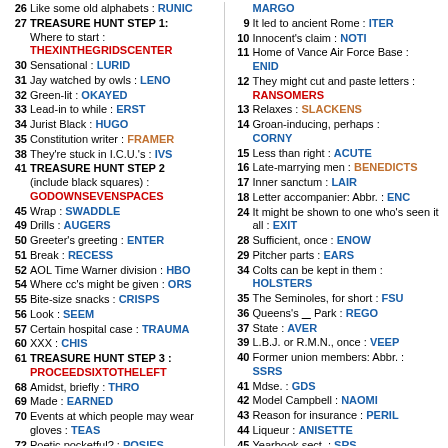26 Like some old alphabets : RUNIC
27 TREASURE HUNT STEP 1: Where to start : THEXINTHEGRIDSCENTER
30 Sensational : LURID
31 Jay watched by owls : LENO
32 Green-lit : OKAYED
33 Lead-in to while : ERST
34 Jurist Black : HUGO
35 Constitution writer : FRAMER
38 They're stuck in I.C.U.'s : IVS
41 TREASURE HUNT STEP 2 (include black squares) : GODOWNSEVENSPACES
45 Wrap : SWADDLE
49 Drills : AUGERS
50 Greeter's greeting : ENTER
51 Break : RECESS
52 AOL Time Warner division : HBO
54 Where cc's might be given : ORS
55 Bite-size snacks : CRISPS
56 Look : SEEM
57 Certain hospital case : TRAUMA
60 XXX : CHIS
61 TREASURE HUNT STEP 3 : PROCEEDSIXTOTHELEFT
68 Amidst, briefly : THRO
69 Made : EARNED
70 Events at which people may wear gloves : TEAS
72 Poetic pocketful? : POSIES
75 French possessive : SES
79 Worked (up) : HET
MARGO
9 It led to ancient Rome : ITER
10 Innocent's claim : NOTI
11 Home of Vance Air Force Base : ENID
12 They might cut and paste letters : RANSOMERS
13 Relaxes : SLACKENS
14 Groan-inducing, perhaps : CORNY
15 Less than right : ACUTE
16 Late-marrying men : BENEDICTS
17 Inner sanctum : LAIR
18 Letter accompanier: Abbr. : ENC
24 It might be shown to one who's seen it all : EXIT
28 Sufficient, once : ENOW
29 Pitcher parts : EARS
34 Colts can be kept in them : HOLSTERS
35 The Seminoles, for short : FSU
36 Queens's ___ Park : REGO
37 State : AVER
39 L.B.J. or R.M.N., once : VEEP
40 Former union members: Abbr. : SSRS
41 Mdse. : GDS
42 Model Campbell : NAOMI
43 Reason for insurance : PERIL
44 Liqueur : ANISETTE
45 Yearbook sect. : SRS
46 Tear up : WEEP
47 Pete Sampras, sometimes : ACER